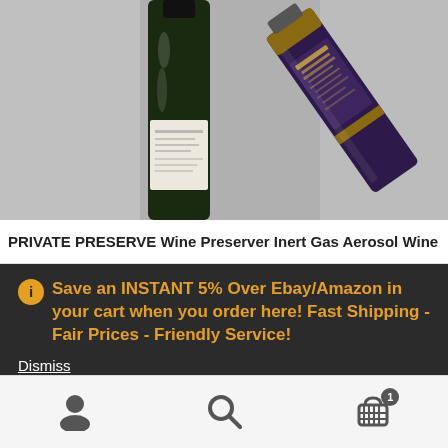[Figure (photo): Product photo showing two wine bottles and a wine preserver aerosol can tilted at an angle, on a grey background.]
PRIVATE PRESERVE Wine Preserver Inert Gas Aerosol Wine
Save an INSTANT 5% Over Ebay/Amazon in your cart when you order here! Fast Shipping - Fair Prices - Friendly Service!
Dismiss